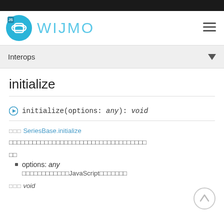Wijmo
Interops
initialize
initialize(options: any): void
オーバーライド SeriesBase.initialize
このオブジェクトを指定した値で初期化します。
引数
options: any — JavaScriptオブジェクトの初期化データ。
戻り値 void